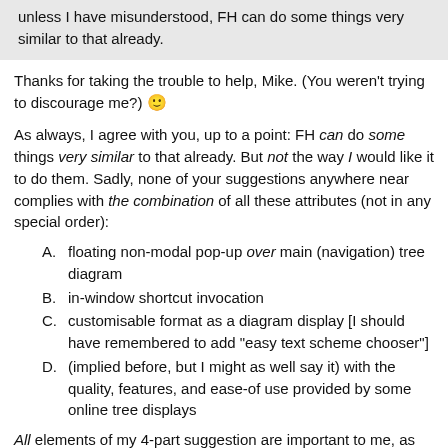unless I have misunderstood, FH can do some things very similar to that already.
Thanks for taking the trouble to help, Mike. (You weren't trying to discourage me?) 🙂
As always, I agree with you, up to a point: FH can do some things very similar to that already. But not the way I would like it to do them. Sadly, none of your suggestions anywhere near complies with the combination of all these attributes (not in any special order):
A. floating non-modal pop-up over main (navigation) tree diagram
B. in-window shortcut invocation
C. customisable format as a diagram display [I should have remembered to add "easy text scheme chooser"]
D. (implied before, but I might as well say it) with the quality, features, and ease-of use provided by some online tree displays
All elements of my 4-part suggestion are important to me, as well as other relevant elements of my proposal, which is a feature request, not an invitation for signposts to other